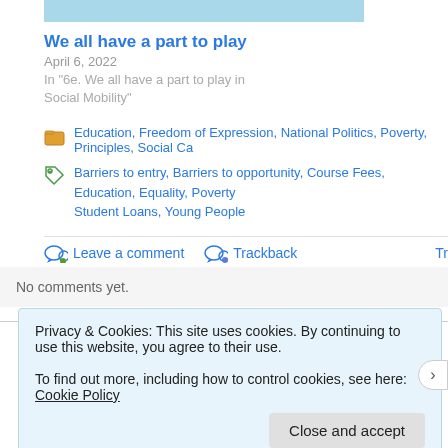[Figure (other): Light blue decorative bar/image placeholder at top]
We all have a part to play
April 6, 2022
In "6e. We all have a part to play in Social Mobility"
Education, Freedom of Expression, National Politics, Poverty, Principles, Social Ca...
Barriers to entry, Barriers to opportunity, Course Fees, Education, Equality, Poverty, Student Loans, Young People
Leave a comment  Trackback  Tr...
No comments yet.
Leave a Reply
Privacy & Cookies: This site uses cookies. By continuing to use this website, you agree to their use. To find out more, including how to control cookies, see here: Cookie Policy
Close and accept